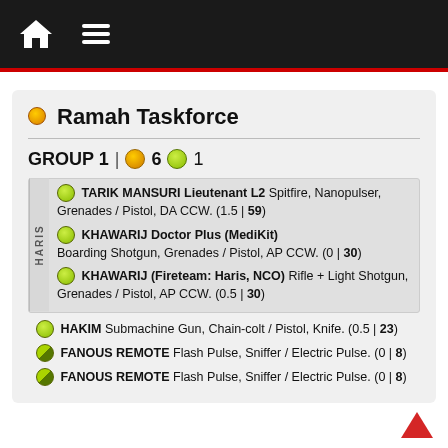Navigation bar with home and menu icons
Ramah Taskforce
GROUP 1 | 6 1
TARIK MANSURI Lieutenant L2 Spitfire, Nanopulser, Grenades / Pistol, DA CCW. (1.5 | 59)
KHAWARIJ Doctor Plus (MediKit) Boarding Shotgun, Grenades / Pistol, AP CCW. (0 | 30)
KHAWARIJ (Fireteam: Haris, NCO) Rifle + Light Shotgun, Grenades / Pistol, AP CCW. (0.5 | 30)
HAKIM Submachine Gun, Chain-colt / Pistol, Knife. (0.5 | 23)
FANOUS REMOTE Flash Pulse, Sniffer / Electric Pulse. (0 | 8)
FANOUS REMOTE Flash Pulse, Sniffer / Electric Pulse. (0 | 8)